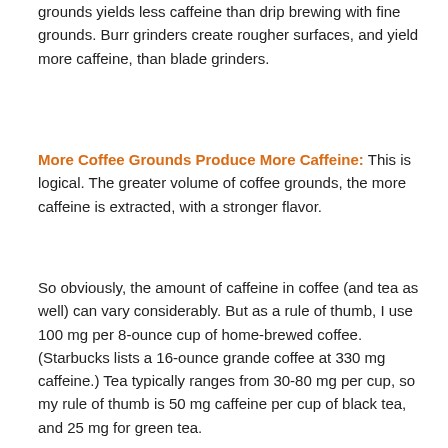grounds yields less caffeine than drip brewing with fine grounds. Burr grinders create rougher surfaces, and yield more caffeine, than blade grinders.
More Coffee Grounds Produce More Caffeine: This is logical. The greater volume of coffee grounds, the more caffeine is extracted, with a stronger flavor.
So obviously, the amount of caffeine in coffee (and tea as well) can vary considerably. But as a rule of thumb, I use 100 mg per 8-ounce cup of home-brewed coffee. (Starbucks lists a 16-ounce grande coffee at 330 mg caffeine.) Tea typically ranges from 30-80 mg per cup, so my rule of thumb is 50 mg caffeine per cup of black tea, and 25 mg for green tea.
More to explore:
Calculate Your Caffeine – Infographic compares